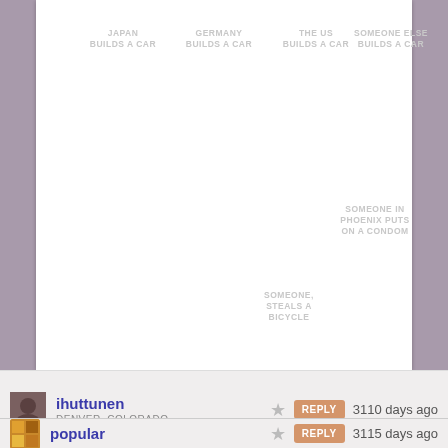[Figure (infographic): White document card with light gray text labels positioned at various coordinates: 'JAPAN BUILDS A CAR', 'GERMANY BUILDS A CAR', 'THE US BUILDS A CAR', 'SOMEONE ELSE BUILDS A CAR', 'SOMEONE IN PHOENIX PUTS ON A CONDOM', 'SOMEONE STEALS A BICYCLE']
ihuttunen
DENVER, COLORADO
3110 days ago
popular
3115 days ago